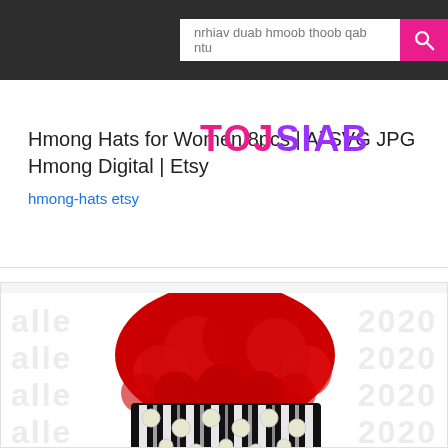nrhiav duab hmoob thoob qab ntu [search bar]
Hmong Hats for Women 8pcs | Ai SVG JPG Hmong Digital | Etsy
hmong-hats etsy
[Figure (photo): Illustration of a Hmong hat: large red pom-pom style top with black and white patterned brim decorated with white circular ornaments, displayed over a watermark background reading 'alleye 2020']